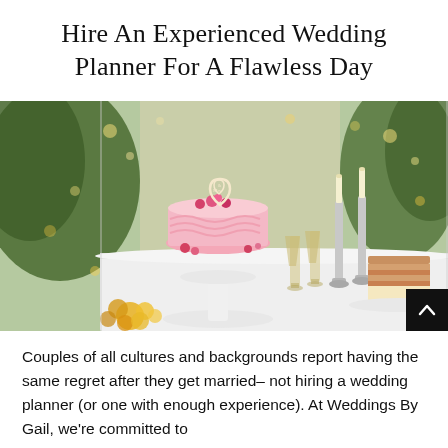Hire An Experienced Wedding Planner For A Flawless Day
[Figure (photo): A pink wedding cake with 'Mrs & Mrs' topper decorated with flowers on a white cake stand, alongside a slice of layered cake on a plate, champagne flutes, silver candlesticks with tall candles, and floral arrangements on a white table with a green bokeh background.]
Couples of all cultures and backgrounds report having the same regret after they get married– not hiring a wedding planner (or one with enough experience). At Weddings By Gail, we're committed to